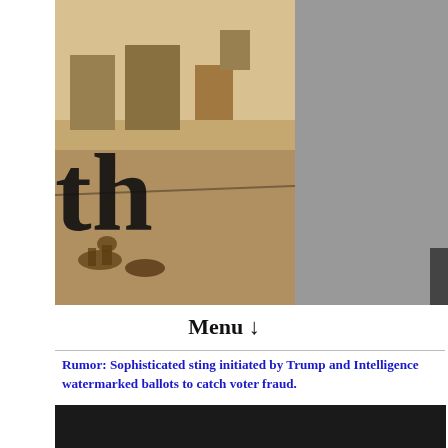[Figure (illustration): Header image composed of three panels: left panel shows a sepia-toned historical illustration of a town/military scene with large 'th' text overlay; center panel shows a black-and-white portrait photograph of a 19th-century man in profile; right panel shows a pinkish background with partial bold italic text reading 'Politi', 'v. rea', 'Divers', 'v. me']
Menu ↓
Rumor: Sophisticated sting initiated by Trump and Intelligence watermarked ballots to catch voter fraud.
They knew the Democrat fraud would come, and were prepared.
[Figure (screenshot): Dark/black rectangle representing a video embed or media player]